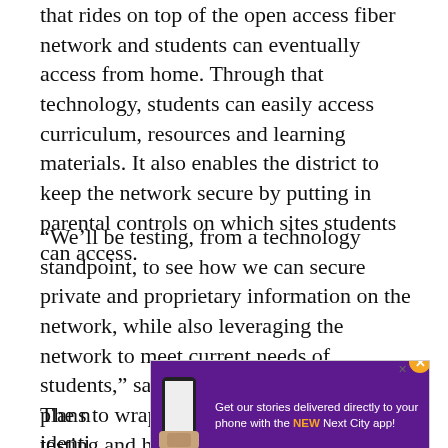that rides on top of the open access fiber network and students can eventually access from home. Through that technology, students can easily access curriculum, resources and learning materials. It also enables the district to keep the network secure by putting in parental controls on which sites students can access.
“We’ll be testing, from a technology standpoint, to see how we can secure private and proprietary information on the network, while also leveraging the network to meet current needs of students,” says McCarron. The school plans to wrap up its “proof of concept” testing and have network connectivity with Underline in place by March 2022.
[Figure (other): Advertisement banner: purple background with phone graphic. Text reads 'Get our stories delivered directly to your phone with the NEW Next City app!' with orange close button.]
The n[ext paragraph begins, partially visible] identi[fied, partially visible] es in